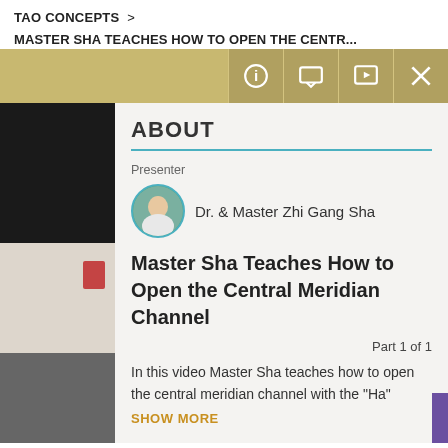TAO CONCEPTS  >
MASTER SHA TEACHES HOW TO OPEN THE CENTR...
ABOUT
Presenter
Dr. & Master Zhi Gang Sha
Master Sha Teaches How to Open the Central Meridian Channel
Part 1 of 1
In this video Master Sha teaches how to open the central meridian channel with the "Ha"
SHOW MORE